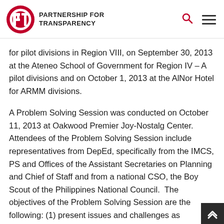PARTNERSHIP FOR TRANSPARENCY
for pilot divisions in Region VIII, on September 30, 2013 at the Ateneo School of Government for Region IV – A pilot divisions and on October 1, 2013 at the AlNor Hotel for ARMM divisions.
A Problem Solving Session was conducted on October 11, 2013 at Oakwood Premier Joy-Nostalg Center. Attendees of the Problem Solving Session include representatives from DepEd, specifically from the IMCS, PS and Offices of the Assistant Secretaries on Planning and Chief of Staff and from a national CSO, the Boy Scout of the Philippines National Council. The objectives of the Problem Solving Session are the following: (1) present issues and challenges as generated from the implementation of project activities in the pilot divisions (2) present recommendations to address the issues and challenges discussed (3) solicit responses and commitment from the national stakeholders.